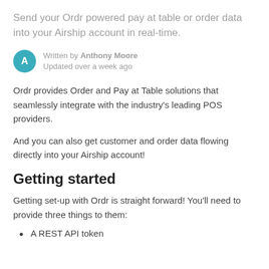Send your Ordr powered pay at table or order data into your Airship account in real-time.
Written by Anthony Moore
Updated over a week ago
Ordr provides Order and Pay at Table solutions that seamlessly integrate with the industry's leading POS providers.
And you can also get customer and order data flowing directly into your Airship account!
Getting started
Getting set-up with Ordr is straight forward! You'll need to provide three things to them:
A REST API token